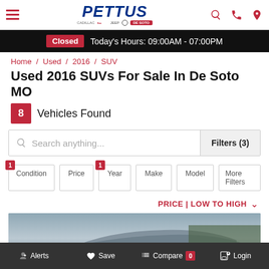[Figure (screenshot): Pettus dealership website header with hamburger menu, Pettus logo with brand icons, and search/phone/location icons in red]
Closed  Today's Hours: 09:00AM - 07:00PM
Home / Used / 2016 / SUV
Used 2016 SUVs For Sale In De Soto MO
8  Vehicles Found
Search anything...  Filters (3)
1 Condition  Price  1 Year  Make  Model  More Filters
PRICE | LOW TO HIGH
[Figure (photo): Partial view of a gray SUV roof from above against a blurred outdoor background]
Alerts  Save  Compare 0  Login